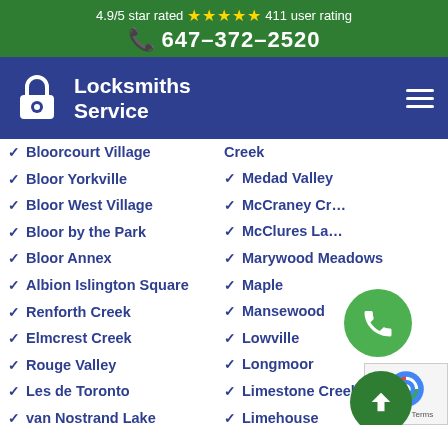4.9/5 star rated ★★★★★ 411 user rating
647-372-2520
[Figure (logo): Locksmiths Service logo with padlock icon]
Bloorcourt Village
Creek
Bloor Yorkville
Medad Valley
Bloor West Village
McCraney Cr…
Bloor by the Park
McClures La…
Bloor Annex
Marywood Meadows
Albion Islington Square
Maple
Renforth Creek
Mansewood
Elmcrest Creek
Lowville
Rouge Valley
Longmoor
Les de Toronto
Limestone Creek
van Nostrand Lake
Limehouse